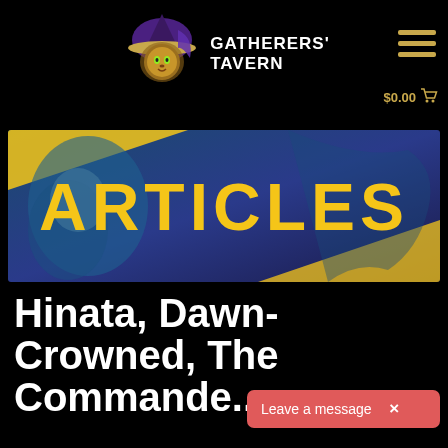[Figure (logo): Gatherers' Tavern logo: stylized lion-like face wearing a witch hat with purple cloth, next to text reading GATHERERS' TAVERN in white bold uppercase letters]
[Figure (other): Hamburger menu icon (three horizontal yellow lines) in top right corner]
$0.00 🛒
[Figure (illustration): Articles banner: fantasy illustration of a blue-skinned woman with flowing blue hair against a purple/blue background with a yellow diagonal stripe, overlaid with the text ARTICLES in large bold yellow letters]
Hinata, Dawn-Crowned, The Commander...
Leave a message  ×